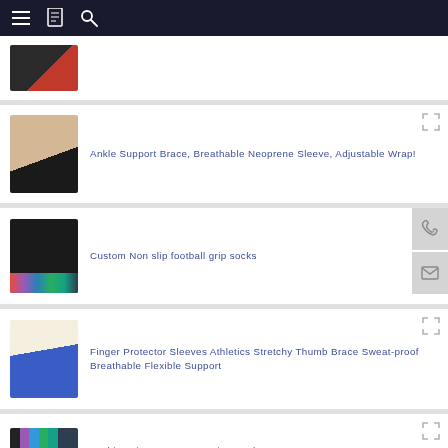Navigation bar with menu, bookmark, and search icons
[Figure (photo): Partial product image of gloves (top card, partially visible)]
[Figure (photo): Ankle Support Brace product image showing black ankle brace on a foot]
Ankle Support Brace, Breathable Neoprene Sleeve, Adjustable Wrap!
[Figure (photo): Custom Non slip football grip socks product image showing white and black socks with colorful variants]
Custom Non slip football grip socks
[Figure (photo): Finger Protector Sleeves product image showing blue finger sleeves on a hand]
Finger Protector Sleeves Athletics Stretchy Thumb Brace Sweat-proof Breathable Flexible Support
[Figure (photo): Fashion Tie Dye Compression Socks product image showing colorful socks]
Fashion Tie Dye Compression Socks